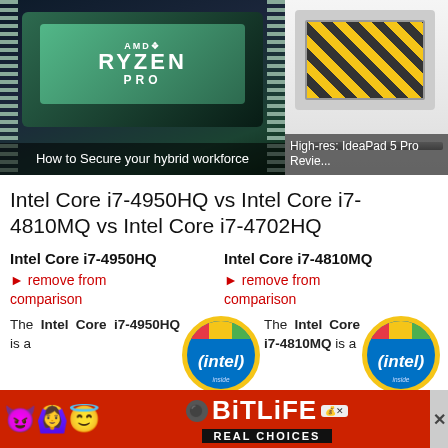[Figure (photo): AMD Ryzen Pro chip close-up photo with caption 'How to Secure your hybrid workforce']
[Figure (photo): Laptop (IdeaPad 5 Pro) with yellow striped wallpaper, caption 'High-res: IdeaPad 5 Pro Review']
Intel Core i7-4950HQ vs Intel Core i7-4810MQ vs Intel Core i7-4702HQ
Intel Core i7-4950HQ
Intel Core i7-4810MQ
► remove from comparison
► remove from comparison
The Intel Core i7-4950HQ is a
[Figure (logo): Intel inside badge logo]
The Intel Core i7-4810MQ is a
[Figure (logo): Intel inside badge logo]
[Figure (infographic): BitLife advertisement banner with devil and angel emojis, 'REAL CHOICES' text]